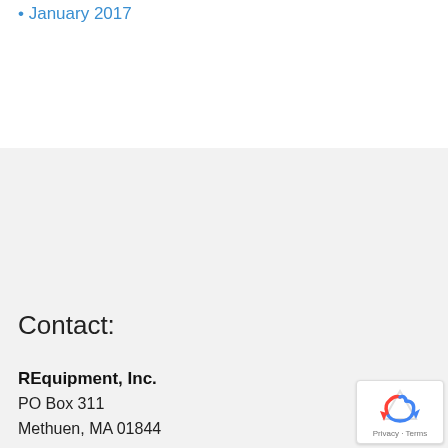January 2017
Contact:
REquipment, Inc.
PO Box 311
Methuen, MA 01844

(508) 713-9690
(800) 261-9841 toll free
(877) 844-1386 Fax
E-Mail: info@dmereuse.org